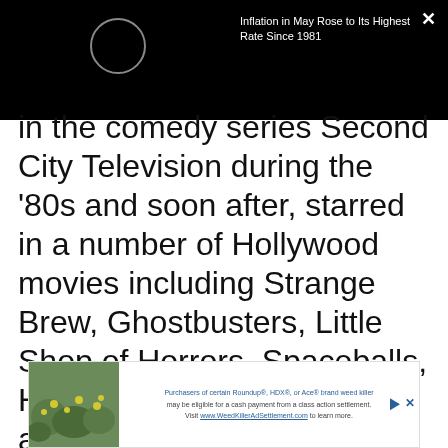[Figure (screenshot): Black notification bar with circle icon, close button (×), and headline text: 'Inflation in May Rose to Its Highest Rate Since 1981']
in the comedy series Second City Television during the '80s and soon after, starred in a number of Hollywood movies including Strange Brew, Ghostbusters, Little Shop of Horrors, Spaceballs, Honey, I Shrunk the Kids, and The Flintstones. In 1997, Moranis quit acting to focus on his two kids, as a
[Figure (infographic): Advertisement banner: 'Purchasers of certain Roundup®, HDX®, or Ace® brand weed killer may be eligible for a cash payment from a class action settlement. Visit www.WeedKillerAdSettlement.com to learn more.' with a photo of weeds with yellow flowers.]